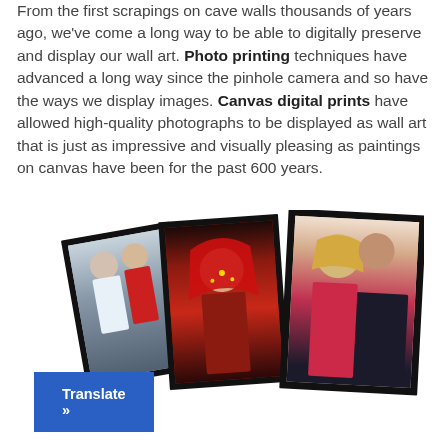From the first scrapings on cave walls thousands of years ago, we've come a long way to be able to digitally preserve and display our wall art. Photo printing techniques have advanced a long way since the pinhole camera and so have the ways we display images. Canvas digital prints have allowed high-quality photographs to be displayed as wall art that is just as impressive and visually pleasing as paintings on canvas have been for the past 600 years.
[Figure (photo): Three framed photographs displayed at angles showing couples and a woman in traditional attire]
Translate »